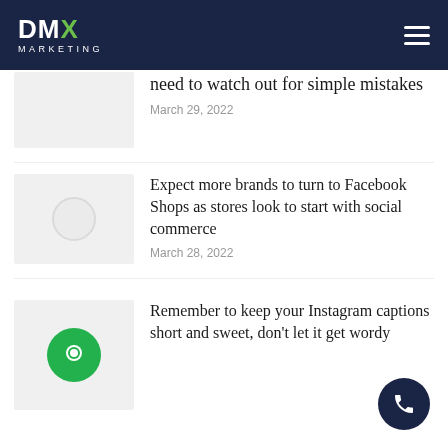[Figure (logo): DMX Marketing logo — white text on dark navy header with hamburger menu icon]
need to watch out for simple mistakes
March 29, 2022
Expect more brands to turn to Facebook Shops as stores look to start with social commerce
March 28, 2022
Remember to keep your Instagram captions short and sweet, don't let it get wordy